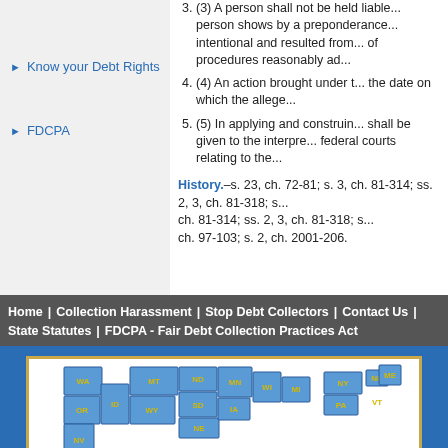(3) A person shall not be held liable... person shows by a preponderance... intentional and resulted from... of procedures reasonably adapted...
(4) An action brought under this section... the date on which the alleged...
(5) In applying and construing... shall be given to the interpretation... federal courts relating to the...
History.–s. 23, ch. 72-81; s. 3, ch. 81-314; ss. 2, 3, ch. 81-318; s. ... ch. 97-103; s. 2, ch. 2001-206.
Know your Debt Rights
FDCPA
Home | Collection Harassment | Stop Debt Collectors | Contact Us | State Statutes | FDCPA - Fair Debt Collection Practices Act
[Figure (map): US map showing states with abbreviations: WA, OR, ID, NV, MT, WY, ND, SD, NE, MN, IA, WI, MI, NY, PA, NH, VT and other states labeled in yellow on blue state shapes]